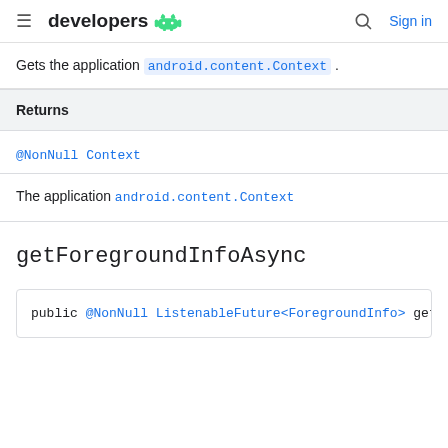developers [android logo] | [search icon] Sign in
Gets the application android.content.Context .
| Returns |
| --- |
| @NonNull Context |
The application android.content.Context
getForegroundInfoAsync
public @NonNull ListenableFuture<ForegroundInfo> get